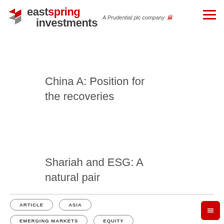[Figure (logo): Eastspring Investments logo with red arrow chevron and 'A Prudential plc company' text with Prudential logo]
China A: Position for the recoveries
Shariah and ESG: A natural pair
ARTICLE
ASIA
EMERGING MARKETS
EQUITY